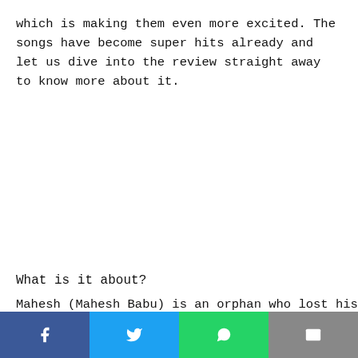which is making them even more excited. The songs have become super hits already and let us dive into the review straight away to know more about it.
What is it about?
Mahesh (Mahesh Babu) is an orphan who lost his
[Figure (other): Social media share bar with four buttons: Facebook (blue), Twitter (light blue), WhatsApp (green), Email (grey)]